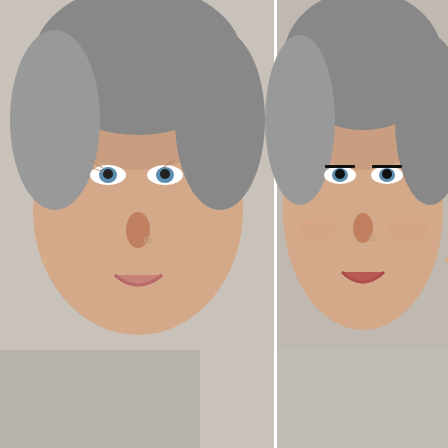[Figure (photo): Side-by-side before and after photos of a middle-aged woman with grey hair. Left: no makeup, natural face. Right: with makeup applied, more defined eyes and lips.]
20 Big Makeup Mistakes For Women Over 50... And What To Do About Them!
Senior Mag | Sponsored
[Figure (photo): Interior office or workspace scene with wicker wall decorations, a green plant, wooden desk, and chairs visible.]